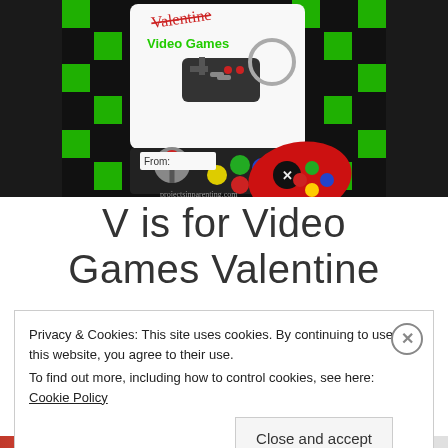[Figure (photo): Video game valentine card with arcade controls, game controller keychain, NES controller, colorful buttons, and 'From:' label on dark background with green pixel squares]
V is for Video Games Valentine
Privacy & Cookies: This site uses cookies. By continuing to use this website, you agree to their use. To find out more, including how to control cookies, see here: Cookie Policy
Close and accept